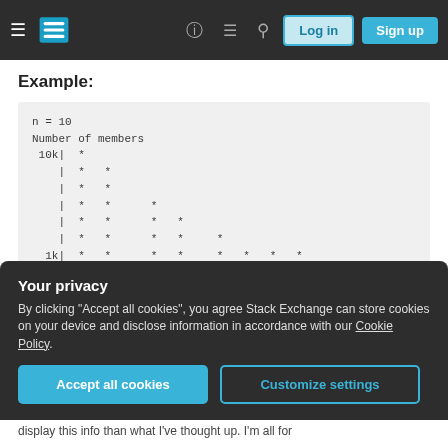Stack Exchange navigation bar with Log in and Sign up buttons
Example:
n = 10
Number of members
  10k|  *
     |  *   *
     |  *   *
     |  *   *    *
     |  *   *    *   *
     |  *   *    *   *   *
  1k |  *   *    *   *   *   *   *   *
     |  *   *    *   *   *   *   *   *
     |  *   *    *   *   *   *   *   *   *
Your privacy
By clicking "Accept all cookies", you agree Stack Exchange can store cookies on your device and disclose information in accordance with our Cookie Policy.
display this info than what I've thought up. I'm all for